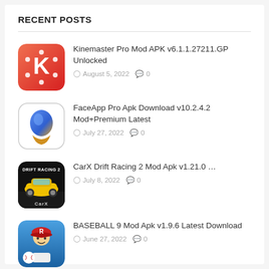RECENT POSTS
Kinemaster Pro Mod APK v6.1.1.27211.GP Unlocked — August 5, 2022 — 0
FaceApp Pro Apk Download v10.2.4.2 Mod+Premium Latest — July 27, 2022 — 0
CarX Drift Racing 2 Mod Apk v1.21.0 ... — July 8, 2022 — 0
BASEBALL 9 Mod Apk v1.9.6 Latest Download — June 27, 2022 — 0